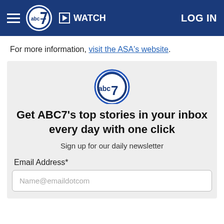ABC7 navigation bar with hamburger menu, ABC7 logo, WATCH button, and LOG IN link
For more information, visit the ASA's website.
[Figure (logo): ABC7 logo circle with abc text and blue 7]
Get ABC7's top stories in your inbox every day with one click
Sign up for our daily newsletter
Email Address*
Name@emaildotcom